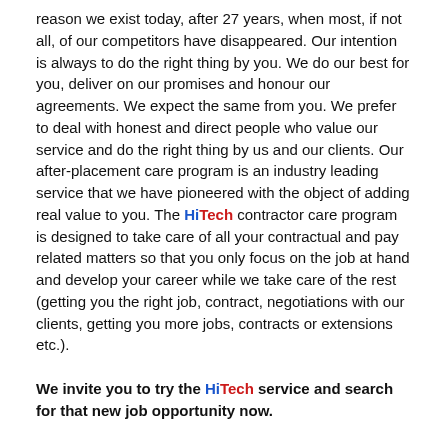reason we exist today, after 27 years, when most, if not all, of our competitors have disappeared. Our intention is always to do the right thing by you. We do our best for you, deliver on our promises and honour our agreements. We expect the same from you. We prefer to deal with honest and direct people who value our service and do the right thing by us and our clients. Our after-placement care program is an industry leading service that we have pioneered with the object of adding real value to you. The HiTech contractor care program is designed to take care of all your contractual and pay related matters so that you only focus on the job at hand and develop your career while we take care of the rest (getting you the right job, contract, negotiations with our clients, getting you more jobs, contracts or extensions etc.).
We invite you to try the HiTech service and search for that new job opportunity now.